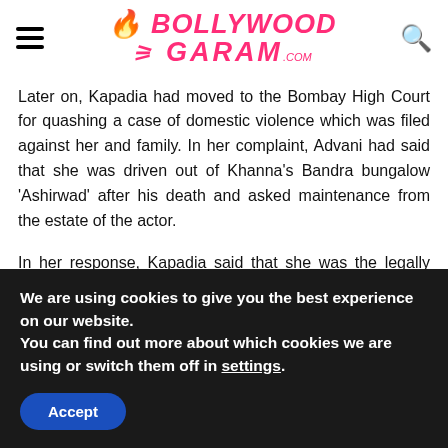Bollywood Garam
Later on, Kapadia had moved to the Bombay High Court for quashing a case of domestic violence which was filed against her and family. In her complaint, Advani had said that she was driven out of Khanna’s Bandra bungalow ‘Ashirwad’ after his death and asked maintenance from the estate of the actor.
In her response, Kapadia said that she was the legally wedded wife of Khanna and that no other woman can claim her share in the wealth left behind by her husband. The former actress also…
We are using cookies to give you the best experience on our website.
You can find out more about which cookies we are using or switch them off in settings.
Accept